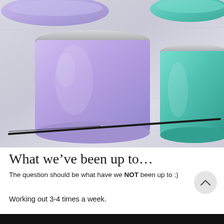[Figure (photo): Overhead photo of colorful insulated drinkware/tumblers on a white wooden surface. A purple/lavender stemless wine tumbler is centered, a teal/mint tumbler is on the right, matching colored lids are visible at the top. A dark straw lies diagonally across the bottom of the image.]
What we’ve been up to…
The question should be what have we NOT been up to ;)
Working out 3-4 times a week.